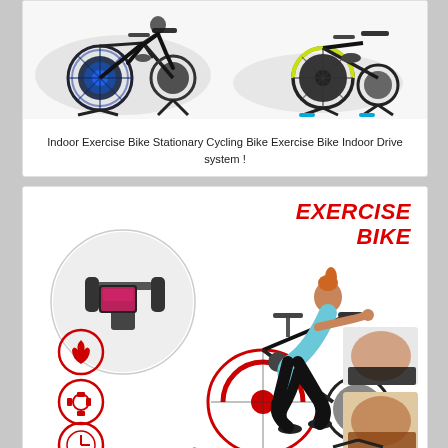[Figure (photo): Two indoor stationary exercise bikes side by side on white background]
Indoor Exercise Bike Stationary Cycling Bike Exercise Bike Indoor Drive system !
[Figure (photo): Exercise bike promotional image with woman riding a stationary bike, showing handlebar detail in circle inset, red/black/white design with icons for burn, settings, and time on left side, and close-up body images on right. Bold red italic text reads EXERCISE BIKE at top right.]